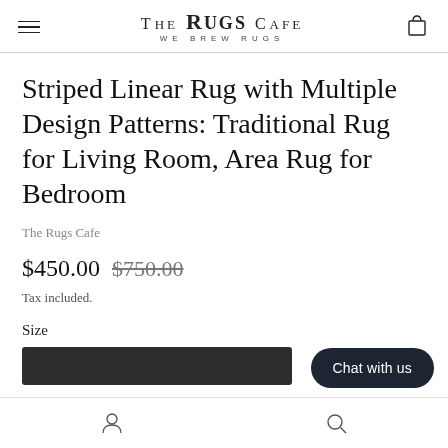THE RUGS CAFE — WE BREW RUGS
Striped Linear Rug with Multiple Design Patterns: Traditional Rug for Living Room, Area Rug for Bedroom
The Rugs Cafe
$450.00  $750.00
Tax included.
Size
Chat with us